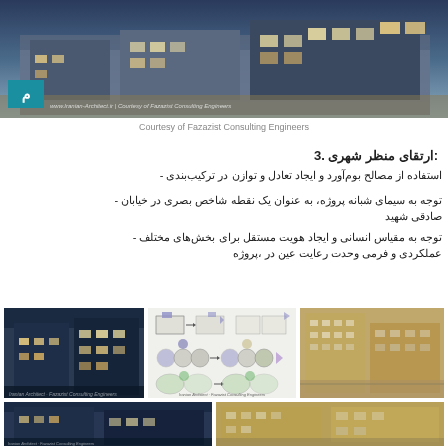[Figure (photo): Nighttime exterior rendering of a modern multi-story building with illuminated windows. Logo of Iranian Architects and Fazazist Consulting Engineers watermark at bottom left.]
Courtesy of Fazazist Consulting Engineers
3. ارتقای منظر شهری:
- استفاده از مصالح بوم‌آورد و ایجاد تعادل و توازن در ترکیب‌بندی
- توجه به سیمای شبانه پروژه، به عنوان یک نقطه شاخص بصری در خیابان شهید صادقی
- توجه به مقیاس انسانی و ایجاد هویت مستقل برای بخش‌های مختلف پروژه، در عین رعایت وحدت فرمی و عملکردی
[Figure (photo): Nighttime photo of modern residential building exterior with blue lighting]
[Figure (schematic): Architectural concept diagram showing building massing and arrangement studies with 3D block models]
[Figure (photo): Aerial/perspective view of a multi-story residential building with beige/tan facade]
[Figure (photo): Bottom strip: two partial photos of building exteriors]
[Figure (photo): Bottom strip right: partial photo of building facade]